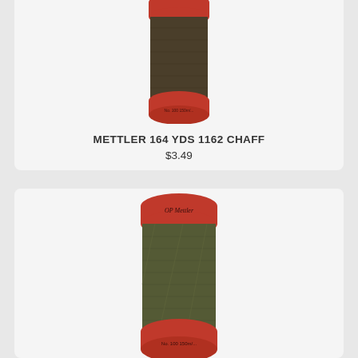[Figure (photo): Mettler thread spool, dark olive/brown color with red bobbin, top portion visible, No. 100 label]
METTLER 164 YDS 1162 CHAFF
$3.49
[Figure (photo): Mettler thread spool, olive green color with red top and bottom bobbin, Mettler script logo on top, No. 100 150m label]